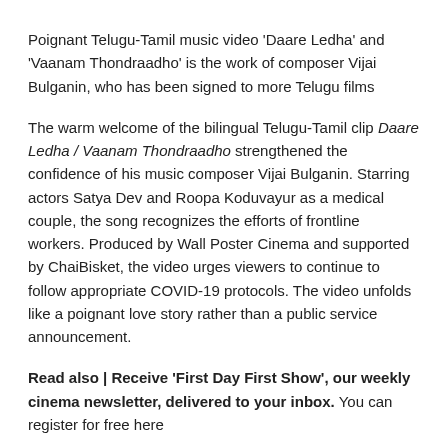Poignant Telugu-Tamil music video 'Daare Ledha' and 'Vaanam Thondraadho' is the work of composer Vijai Bulganin, who has been signed to more Telugu films
The warm welcome of the bilingual Telugu-Tamil clip Daare Ledha / Vaanam Thondraadho strengthened the confidence of his music composer Vijai Bulganin. Starring actors Satya Dev and Roopa Koduvayur as a medical couple, the song recognizes the efforts of frontline workers. Produced by Wall Poster Cinema and supported by ChaiBisket, the video urges viewers to continue to follow appropriate COVID-19 protocols. The video unfolds like a poignant love story rather than a public service announcement.
Read also | Receive 'First Day First Show', our weekly cinema newsletter, delivered to your inbox. You can register for free here